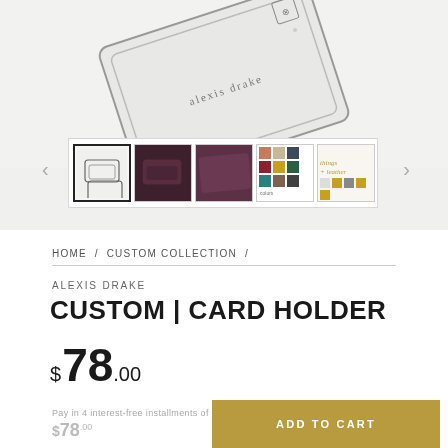[Figure (photo): Product photo of Alexis Drake custom card holder (white leather with brand logo), shown at an angle from above. Below it is an image carousel with thumbnail navigation arrows.]
HOME / CUSTOM COLLECTION /
ALEXIS DRAKE
CUSTOM | CARD HOLDER
$78.00
Pay in 4 interest-free installments of $0.00 with
$78.00
ADD TO CART